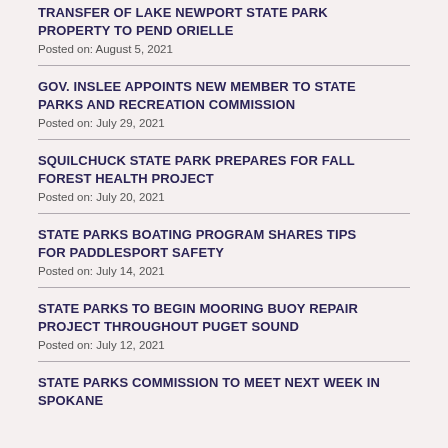TRANSFER OF LAKE NEWPORT STATE PARK PROPERTY TO PEND ORIELLE
Posted on: August 5, 2021
GOV. INSLEE APPOINTS NEW MEMBER TO STATE PARKS AND RECREATION COMMISSION
Posted on: July 29, 2021
SQUILCHUCK STATE PARK PREPARES FOR FALL FOREST HEALTH PROJECT
Posted on: July 20, 2021
STATE PARKS BOATING PROGRAM SHARES TIPS FOR PADDLESPORT SAFETY
Posted on: July 14, 2021
STATE PARKS TO BEGIN MOORING BUOY REPAIR PROJECT THROUGHOUT PUGET SOUND
Posted on: July 12, 2021
STATE PARKS COMMISSION TO MEET NEXT WEEK IN SPOKANE